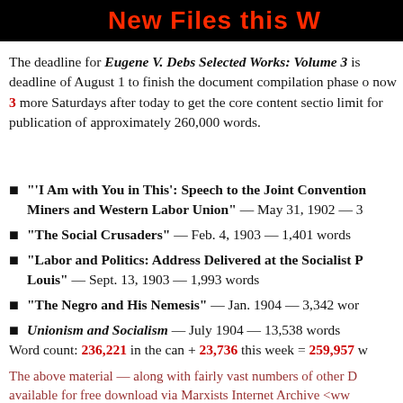[Figure (other): Banner header with black background reading 'New Files this W' in bold red and white text (partially cropped)]
The deadline for Eugene V. Debs Selected Works: Volume 3 is [cropped]. deadline of August 1 to finish the document compilation phase [cropped]. now 3 more Saturdays after today to get the core content section[cropped]. limit for publication of approximately 260,000 words.
"'I Am with You in This': Speech to the Joint Convention[cropped] Miners and Western Labor Union" — May 31, 1902 — 3[cropped]
"The Social Crusaders" — Feb. 4, 1903 — 1,401 words
"Labor and Politics: Address Delivered at the Socialist P[cropped] Louis" — Sept. 13, 1903 — 1,993 words
"The Negro and His Nemesis" — Jan. 1904 — 3,342 wor[cropped]
Unionism and Socialism — July 1904 — 13,538 words
Word count: 236,221 in the can + 23,736 this week = 259,957 w[cropped]
The above material — along with fairly vast numbers of other D[cropped] available for free download via Marxists Internet Archive <www[cropped]